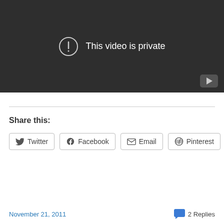[Figure (screenshot): Video player showing 'This video is private' error message on dark background with YouTube logo in bottom right corner]
Share this:
Twitter  Facebook  Email  Pinterest
November 21, 2011   2 Replies